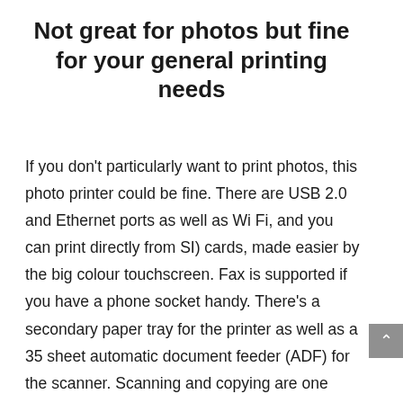Not great for photos but fine for your general printing needs
If you don't particularly want to print photos, this photo printer could be fine. There are USB 2.0 and Ethernet ports as well as Wi Fi, and you can print directly from SI) cards, made easier by the big colour touchscreen. Fax is supported if you have a phone socket handy. There's a secondary paper tray for the printer as well as a 35 sheet automatic document feeder (ADF) for the scanner. Scanning and copying are one side at a time, but you can print double-sided (duplex).